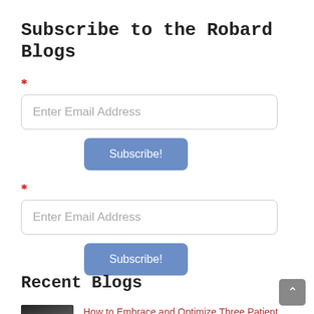Subscribe to the Robard Blogs
* Enter Email Address [Subscribe!]
* Enter Email Address [Subscribe!]
Recent Blogs
How to Embrace and Optimize Three Patient Consu Habits Affecting Your Weight Loss Practice